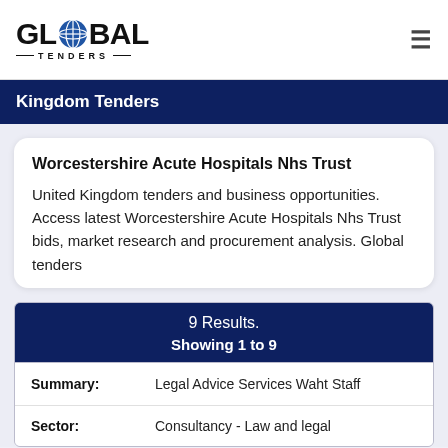GLOBAL TENDERS
Kingdom Tenders
Worcestershire Acute Hospitals Nhs Trust
United Kingdom tenders and business opportunities. Access latest Worcestershire Acute Hospitals Nhs Trust bids, market research and procurement analysis. Global tenders
9 Results.
Showing 1 to 9
| Label | Value |
| --- | --- |
| Summary: | Legal Advice Services Waht Staff |
| Sector: | Consultancy - Law and legal |